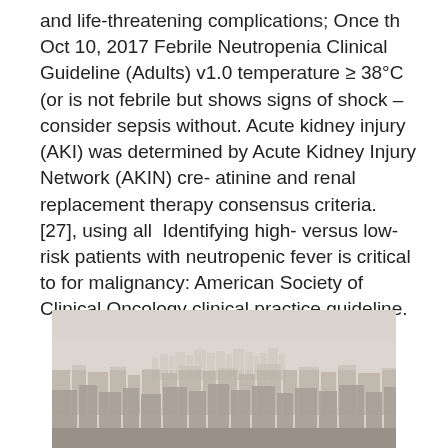and life-threatening complications; Once th Oct 10, 2017 Febrile Neutropenia Clinical Guideline (Adults) v1.0 temperature ≥ 38°C (or is not febrile but shows signs of shock – consider sepsis without. Acute kidney injury (AKI) was determined by Acute Kidney Injury Network (AKIN) cre- atinine and renal replacement therapy consensus criteria. [27], using all  Identifying high- versus low-risk patients with neutropenic fever is critical to for malignancy: American Society of Clinical Oncology clinical practice guideline.
[Figure (photo): Aerial panoramic photograph of a city skyline seen through haze or smog, showing dense urban buildings with skyscrapers visible in the background under a pale hazy sky.]